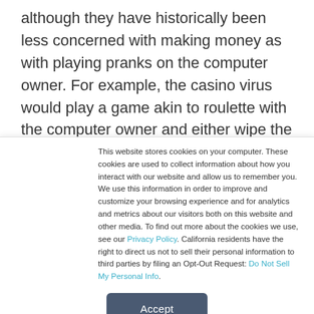although they have historically been less concerned with making money as with playing pranks on the computer owner. For example, the casino virus would play a game akin to roulette with the computer owner and either wipe the disk contents or leave them intact based on the outcome of the game," Ed Moyle, president, SecurityCurve, told
This website stores cookies on your computer. These cookies are used to collect information about how you interact with our website and allow us to remember you. We use this information in order to improve and customize your browsing experience and for analytics and metrics about our visitors both on this website and other media. To find out more about the cookies we use, see our Privacy Policy. California residents have the right to direct us not to sell their personal information to third parties by filing an Opt-Out Request: Do Not Sell My Personal Info.